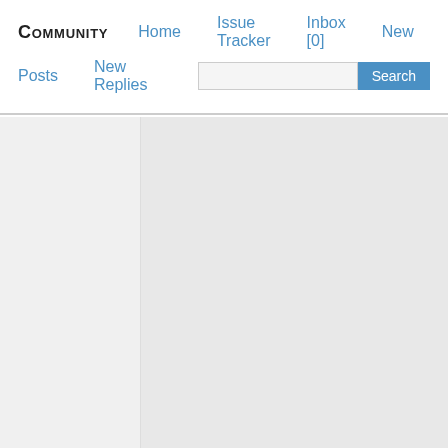COMMUNITY  Home  Issue Tracker  Inbox [0]  New  Posts  New Replies  Search
like that. Or if I want user to only edit scene I can restricted all the behavior and